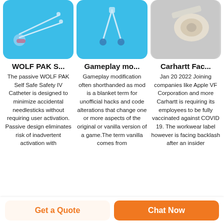[Figure (photo): Medical IV catheter tubing on blue background]
[Figure (photo): Medical device connectors on blue background]
[Figure (photo): Rolled bandage or medical product on gray background]
WOLF PAK S...
Gameplay mo...
Carhartt Fac...
The passive WOLF PAK Self Safe Safety IV Catheter is designed to minimize accidental needlesticks without requiring user activation. Passive design eliminates risk of inadvertent activation with
Gameplay modification often shorthanded as mod is a blanket term for unofficial hacks and code alterations that change one or more aspects of the original or vanilla version of a game.The term vanilla comes from
Jan 20 2022 Joining companies like Apple VF Corporation and more Carhartt is requiring its employees to be fully vaccinated against COVID 19. The workwear label however is facing backlash after an insider
Get a Quote
Chat Now